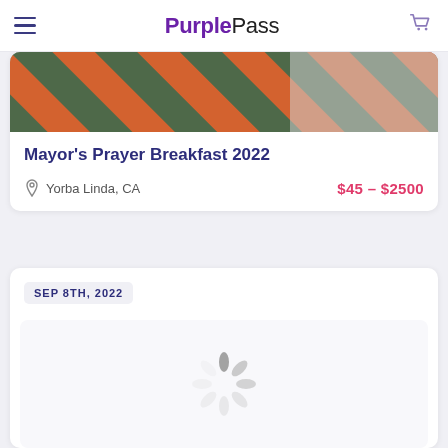PurplePass
[Figure (photo): Striped green and orange diagonal pattern on a fabric or surface, partially out of frame]
Mayor's Prayer Breakfast 2022
Yorba Linda, CA    $45 - $2500
SEP 8TH, 2022
[Figure (other): Loading spinner icon (grey radial dashes indicating content is loading)]